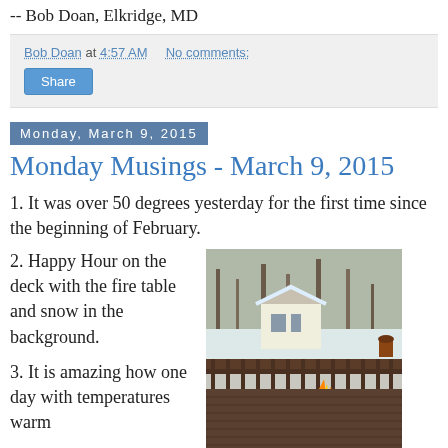-- Bob Doan, Elkridge, MD
Bob Doan at 4:57 AM   No comments:
Share
Monday, March 9, 2015
Monday Musings - March 9, 2015
1. It was over 50 degrees yesterday for the first time since the beginning of February.
2. Happy Hour on the deck with the fire table and snow in the background.
[Figure (photo): Outdoor deck scene with fire table burning, black metal furniture, snow-covered background with trees and a white building.]
3. It is amazing how one day with temperatures warm